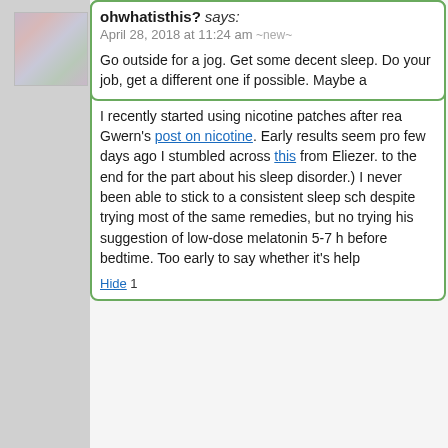↑S§ 689 comments since 1970-01-01 00:0
Here's a lit review on atypical depression from Sa Constantine:
Atypical & Treatment-Resistant Depression
I recently started using nicotine patches after rea Gwern's post on nicotine. Early results seem pro few days ago I stumbled across this from Eliezer. to the end for the part about his sleep disorder.) I never been able to stick to a consistent sleep sch despite trying most of the same remedies, but no trying his suggestion of low-dose melatonin 5-7 h before bedtime. Too early to say whether it's help
Hide 1
ohwhatisthis? says:
April 28, 2018 at 11:24 am ~new~
Go outside for a jog. Get some decent sleep. Do your job, get a different one if possible. Maybe a